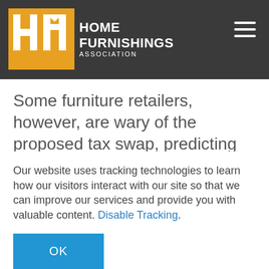Home Furnishings Association
Some furniture retailers, however, are wary of the proposed tax swap, predicting that higher sales-tax rates will widen the price advantage enjoyed by out-of-state online sellers.
Our website uses tracking technologies to learn how our visitors interact with our site so that we can improve our services and provide you with valuable content. Disable Tracking.
OK